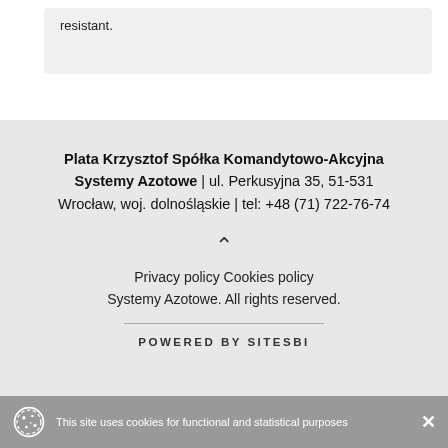resistant.
Plata Krzysztof Spółka Komandytowo-Akcyjna Systemy Azotowe | ul. Perkusyjna 35, 51-531 Wrocław, woj. dolnośląskie | tel: +48 (71) 722-76-74
Privacy policy Cookies policy
Systemy Azotowe. All rights reserved.
POWERED BY SITESBI
This site uses cookies for functional and statistical purposes